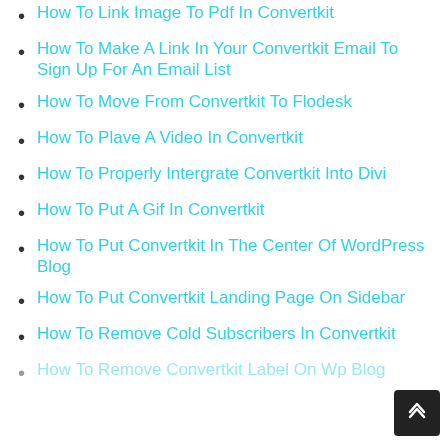How To Link Image To Pdf In Convertkit
How To Make A Link In Your Convertkit Email To Sign Up For An Email List
How To Move From Convertkit To Flodesk
How To Plave A Video In Convertkit
How To Properly Intergrate Convertkit Into Divi
How To Put A Gif In Convertkit
How To Put Convertkit In The Center Of WordPress Blog
How To Put Convertkit Landing Page On Sidebar
How To Remove Cold Subscribers In Convertkit
How To Remove Convertkit Label On Wp Blog